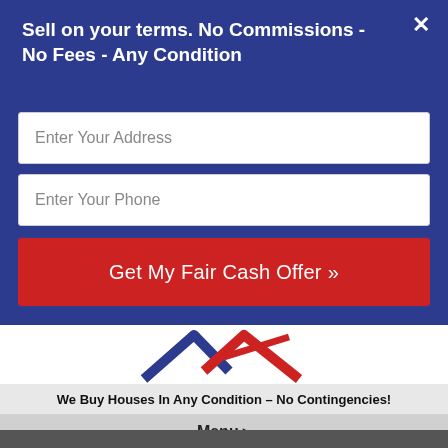Sell on your terms. No Commissions - No Fees - Any Condition
Enter Your Address
Enter Your Phone
Get My Fair Cash Offer »
[Figure (logo): 2nd Chance Investment Group logo with house rooftop graphic in red and blue]
We Buy Houses In Any Condition – No Contingencies!
Menu ▸